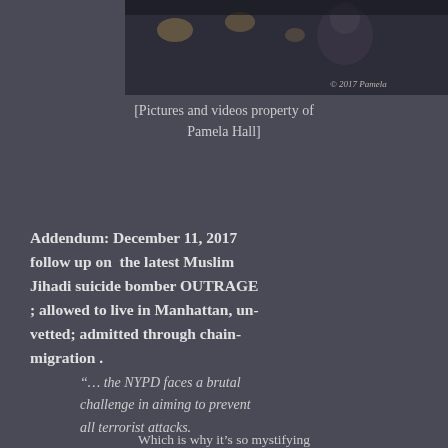[Figure (photo): Dark photograph of a woman looking upward, partially obscured, with bokeh lights in the background. Copyright watermark reads '© 2017 Pamela' visible at bottom right.]
[Pictures and videos property of Pamela Hall]
Addendum: December 11, 2017 follow up on  the latest Muslim Jihadi suicide bomber OUTRAGE ; allowed to live in Manhattan, un-vetted; admitted through chain-migration .
“… the NYPD faces a brutal challenge in aiming to prevent all terrorist attacks.
Which is why it’s so mystifying